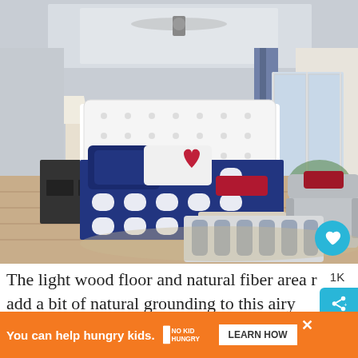[Figure (photo): A bright, airy bedroom with a white tufted headboard, navy blue and white patterned bedding with a red heart-shaped pillow, light wood floors, blue curtains, french doors leading to a balcony, a gray armchair, and a navy patterned ottoman in the foreground.]
The light wood floor and natural fiber area rug add a bit of natural grounding to this airy
You can help hungry kids.  NO KID HUNGRY  LEARN HOW